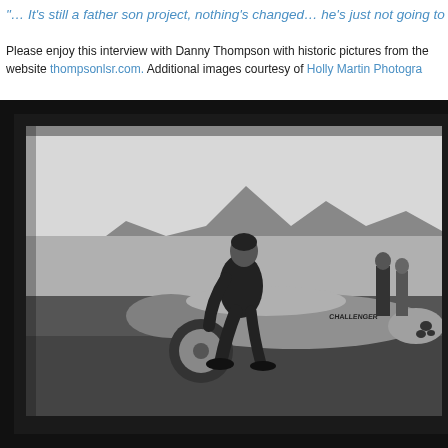"… It's still a father son project, nothing's changed… he's just not going to
Please enjoy this interview with Danny Thompson with historic pictures from the website thompsonlsr.com. Additional images courtesy of Holly Martin Photogra
[Figure (photo): Black and white vintage photograph of a man in a leather jacket sitting on a streamlined land speed record car labeled 'Challenger' on a salt flat, with mountains in the background and other people standing nearby.]